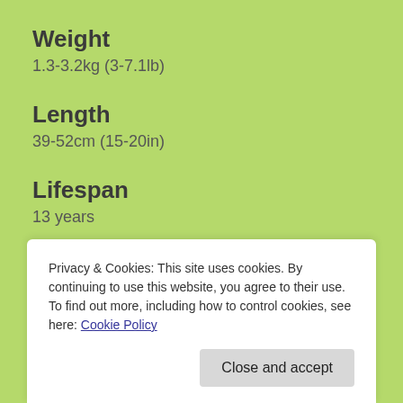Weight
1.3-3.2kg (3-7.1lb)
Length
39-52cm (15-20in)
Lifespan
13 years
Diet
Carnivorous
Privacy & Cookies: This site uses cookies. By continuing to use this website, you agree to their use.
To find out more, including how to control cookies, see here: Cookie Policy
Close and accept